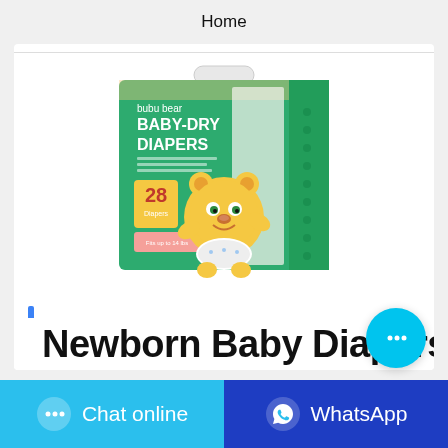Home
[Figure (photo): Product package of 'bubu bear BABY-DRY DIAPERS' showing 28 count, green packaging with a cartoon bear character wearing a diaper]
Newborn Baby Diapers
Chat online
WhatsApp